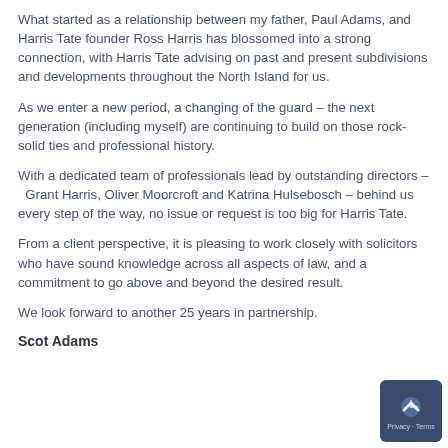What started as a relationship between my father, Paul Adams, and Harris Tate founder Ross Harris has blossomed into a strong connection, with Harris Tate advising on past and present subdivisions and developments throughout the North Island for us.
As we enter a new period, a changing of the guard – the next generation (including myself) are continuing to build on those rock-solid ties and professional history.
With a dedicated team of professionals lead by outstanding directors –  Grant Harris, Oliver Moorcroft and Katrina Hulsebosch – behind us every step of the way, no issue or request is too big for Harris Tate.
From a client perspective, it is pleasing to work closely with solicitors who have sound knowledge across all aspects of law, and a commitment to go above and beyond the desired result.
We look forward to another 25 years in partnership.
Scot Adams